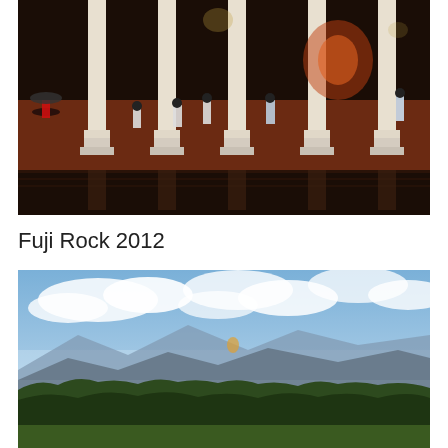[Figure (photo): Dark indoor/outdoor venue at night with white classical columns, a wooden stage or platform, and people walking around, with reflections visible on a dark wet floor below.]
Fuji Rock 2012
[Figure (photo): Outdoor landscape in daytime showing mountains in the background, green trees in the foreground, and a partly cloudy blue sky above — taken at Fuji Rock festival 2012.]